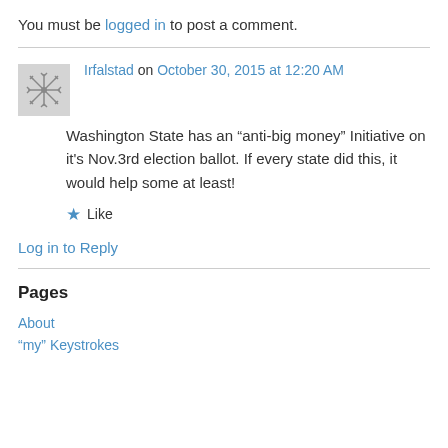You must be logged in to post a comment.
Irfalstad on October 30, 2015 at 12:20 AM
Washington State has an “anti-big money” Initiative on it's Nov.3rd election ballot. If every state did this, it would help some at least!
★ Like
Log in to Reply
Pages
About
“my” Keystrokes